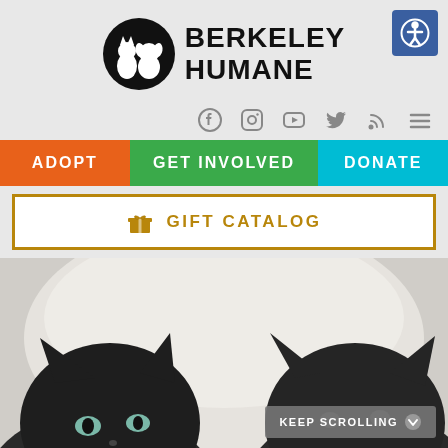[Figure (logo): Berkeley Humane logo: black circle with silhouette of a cat and dog, text BERKELEY HUMANE in bold black]
[Figure (other): Accessibility icon button: blue square with wheelchair user symbol]
[Figure (other): Social media icons: Facebook, Instagram, YouTube, Twitter, RSS feed, hamburger menu]
ADOPT
GET INVOLVED
DONATE
GIFT CATALOG
[Figure (photo): Two black kittens peeking up from behind a white fluffy cat bed, looking at the camera]
KEEP SCROLLING